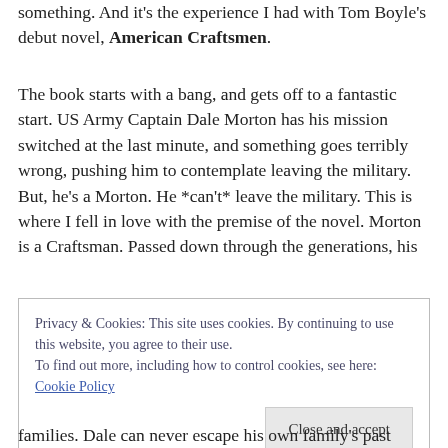something. And it's the experience I had with Tom Boyle's debut novel, American Craftsmen.
The book starts with a bang, and gets off to a fantastic start. US Army Captain Dale Morton has his mission switched at the last minute, and something goes terribly wrong, pushing him to contemplate leaving the military. But, he's a Morton. He *can't* leave the military. This is where I fell in love with the premise of the novel. Morton is a Craftsman. Passed down through the generations, his
Privacy & Cookies: This site uses cookies. By continuing to use this website, you agree to their use.
To find out more, including how to control cookies, see here: Cookie Policy
families. Dale can never escape his own family's past